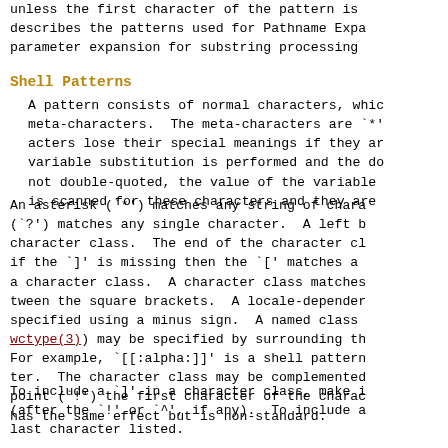unless the first character of the pattern is describes the patterns used for Pathname Expa parameter expansion for substring processing
Shell Patterns
A pattern consists of normal characters, whic meta-characters.  The meta-characters are `*' acters lose their special meanings if they ar variable substitution is performed and the do not double-quoted, the value of the variable is scanned for these characters and they are
An asterisk (`*') matches any string of chara (`?') matches any single character.  A left b character class.  The end of the character cl if the `]' is missing then the `[' matches a a character class.  A character class matches tween the square brackets.  A locale-depender specified using a minus sign.  A named class wctype(3)) may be specified by surrounding th For example, `[[:alpha:]]' is a shell pattern ter.  The character class may be complemented point (`!') the first character of the charac has the same effect but is non-standard.
To include a `]' in a character class, make i (after the `!' or `^', if any).  To include a last character listed.